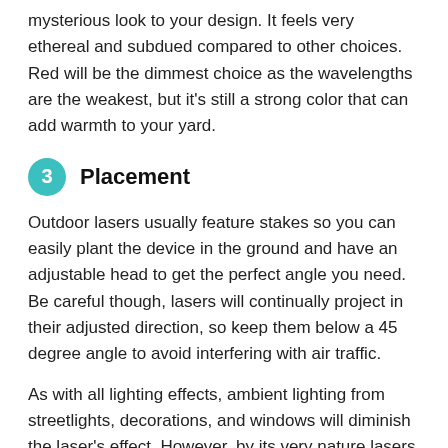mysterious look to your design. It feels very ethereal and subdued compared to other choices. Red will be the dimmest choice as the wavelengths are the weakest, but it's still a strong color that can add warmth to your yard.
3 Placement
Outdoor lasers usually feature stakes so you can easily plant the device in the ground and have an adjustable head to get the perfect angle you need. Be careful though, lasers will continually project in their adjusted direction, so keep them below a 45 degree angle to avoid interfering with air traffic.
As with all lighting effects, ambient lighting from streetlights, decorations, and windows will diminish the laser's effect. However, by its very nature lasers are highly focused beams of light and will still be visible